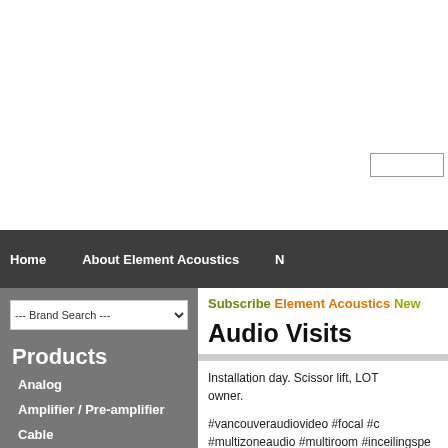Home   About Element Acoustics   N
Subscribe Element Acoustics New
Audio Visits
Products
Analog
Amplifier / Pre-amplifier
Cable
Digital
Headphones
LifeStyle
Power Treatment
Projector
Installation day. Scissor lift, LOT owner.
#vancouveraudiovideo #focal #c #multizoneaudio #multiroom #inceilingspe